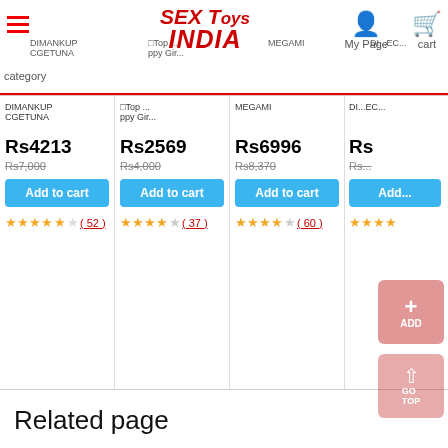SEX Toys INDIA — category | My Page | cart
| Product1 | Product2 | Product3 | Product4 |
| --- | --- | --- | --- |
| Rs4213 | Rs2569 | Rs6996 | Rs... |
| Rs7,000 | Rs4,000 | Rs8,370 | Rs... |
| Add to cart | Add to cart | Add to cart | Add... |
| ★★★★☆ (52) | ★★★★☆ (37) | ★★★★☆ (60) | ★★★★☆ |
Related page